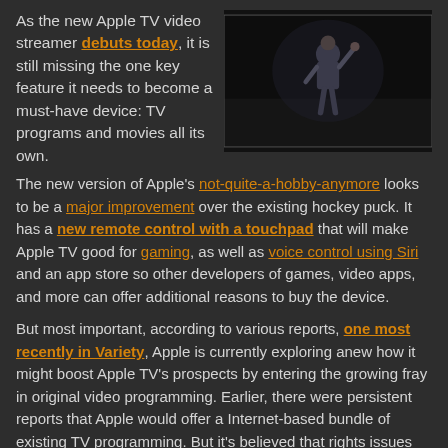As the new Apple TV video streamer debuts today, it is still missing the one key feature it needs to become a must-have device: TV programs and movies all its own.
[Figure (photo): A person on a dark stage with one hand raised, presenting at an Apple event.]
The new version of Apple's not-quite-a-hobby-anymore looks to be a major improvement over the existing hockey puck. It has a new remote control with a touchpad that will make Apple TV good for gaming, as well as voice control using Siri and an app store so other developers of games, video apps, and more can offer additional reasons to buy the device.
But most important, according to various reports, one most recently in Variety, Apple is currently exploring anew how it might boost Apple TV's prospects by entering the growing fray in original video programming. Earlier, there were persistent reports that Apple would offer a Internet-based bundle of existing TV programming. But it's believed that rights issues and a reluctance